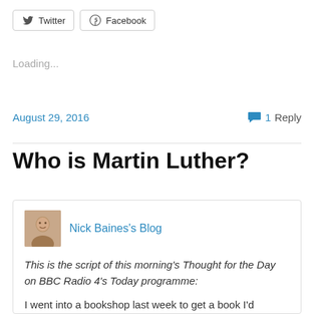[Figure (other): Twitter and Facebook share buttons]
Loading...
August 29, 2016    1 Reply
Who is Martin Luther?
Nick Baines's Blog
This is the script of this morning's Thought for the Day on BBC Radio 4's Today programme:
I went into a bookshop last week to get a book I'd